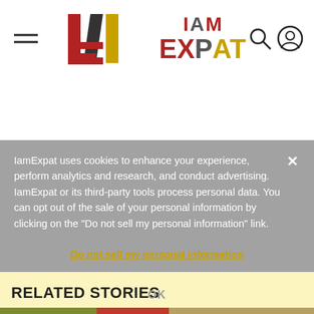IamExpat
IamExpat uses cookies to enhance your experience, perform analytics and research, and conduct advertising. IamExpat or its third-party tools process personal data. You can opt out of the sale of your personal information by clicking on the "Do not sell my personal information" link.
Do not sell my personal information
RELATED STORIES